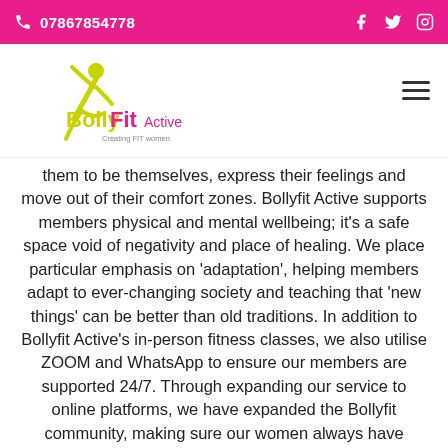07867854778
[Figure (logo): BollyFit Active logo with dancer figure and tagline 'Creating FIT women']
them to be themselves, express their feelings and move out of their comfort zones. Bollyfit Active supports members physical and mental wellbeing; it's a safe space void of negativity and place of healing. We place particular emphasis on 'adaptation', helping members adapt to ever-changing society and teaching that 'new things' can be better than old traditions. In addition to Bollyfit Active's in-person fitness classes, we also utilise ZOOM and WhatsApp to ensure our members are supported 24/7. Through expanding our service to online platforms, we have expanded the Bollyfit community, making sure our women always have constant access to support and a safe-space to